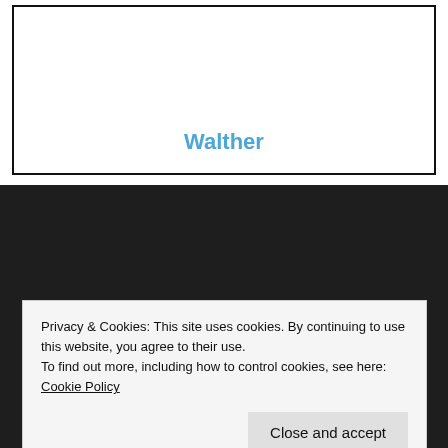[Figure (screenshot): White box with thick black border containing a blue link text 'Walther' centered near the bottom]
Privacy & Cookies: This site uses cookies. By continuing to use this website, you agree to their use.
To find out more, including how to control cookies, see here: Cookie Policy
Close and accept